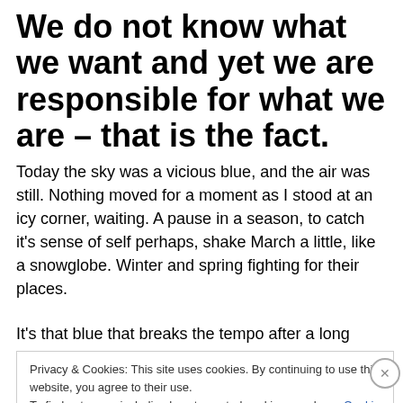We do not know what we want and yet we are responsible for what we are – that is the fact.
Today the sky was a vicious blue, and the air was still. Nothing moved for a moment as I stood at an icy corner, waiting. A pause in a season, to catch it's sense of self perhaps, shake March a little, like a snowglobe. Winter and spring fighting for their places.
It's that blue that breaks the tempo after a long winter-the
Privacy & Cookies: This site uses cookies. By continuing to use this website, you agree to their use.
To find out more, including how to control cookies, see here: Cookie Policy